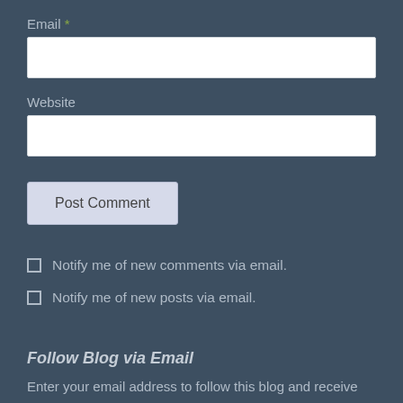Email *
Website
Post Comment
Notify me of new comments via email.
Notify me of new posts via email.
Follow Blog via Email
Enter your email address to follow this blog and receive